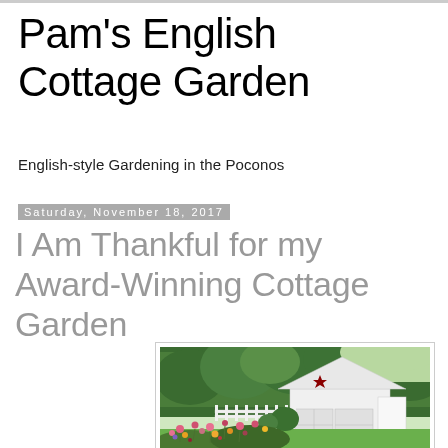Pam's English Cottage Garden
English-style Gardening in the Poconos
Saturday, November 18, 2017
I Am Thankful for my Award-Winning Cottage Garden
[Figure (photo): A white barn/garage with a star decoration, surrounded by colorful cottage garden flowers including pink echinacea and other blooms in foreground, with white picket fence and green trees in background on a sunny day.]